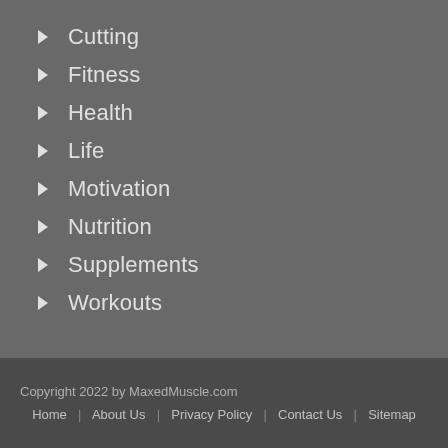Cutting
Fitness
Health
Life
Motivation
Nutrition
Supplements
Workouts
Copyright 2022 by MaxedMuscle.com
Home | About Us | Privacy Policy | Contact Us | Sitemap